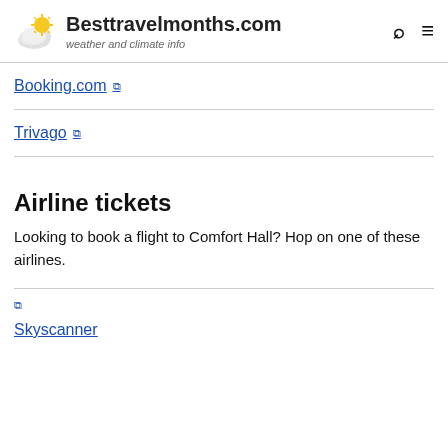Besttravelmonths.com — weather and climate info
Booking.com ↗
Trivago ↗
Airline tickets
Looking to book a flight to Comfort Hall? Hop on one of these airlines.
Skyscanner ↗